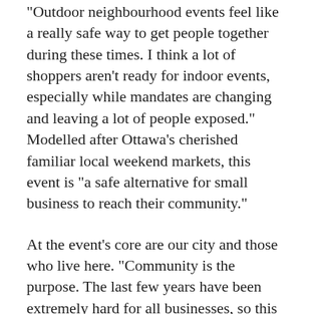“Outdoor neighbourhood events feel like a really safe way to get people together during these times. I think a lot of shoppers aren’t ready for indoor events, especially while mandates are changing and leaving a lot of people exposed.” Modelled after Ottawa’s cherished familiar local weekend markets, this event is “a safe alternative for small business to reach their community.”
At the event’s core are our city and those who live here. “Community is the purpose. The last few years have been extremely hard for all businesses, so this felt like a good idea to get some small businesses we love together to promote their menus and product.” Indeed, Masterson’s hand-picked lineup won’t disappoint: “Yugirolls making handmade vegan eggrolls, neighbourhood superstars The Momo Spot making Nepalese food and, of course, crowd-pleaser sister duo Kabhi Chai Kabhi Shai making authentic Pakistani chai-